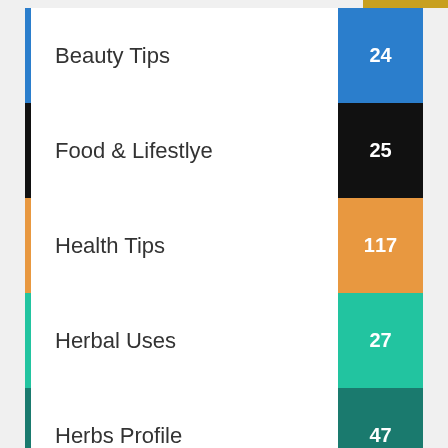Beauty Tips 24
Food & Lifestlye 25
Health Tips 117
Herbal Uses 27
Herbs Profile 47
Home Remedy 26
Sex and Ayurveda 21
Uncategorized 2
Yoga and Asana 28